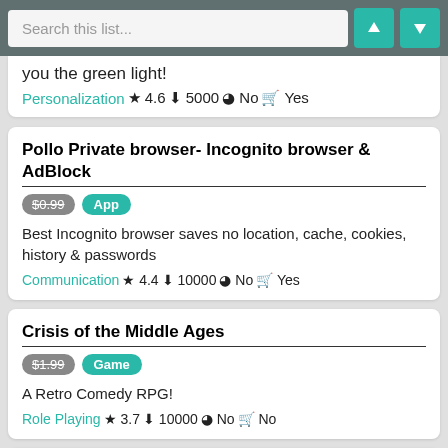Search this list...
you the green light!
Personalization ★ 4.6 ⬇ 5000 🔒 No 🛒 Yes
Pollo Private browser- Incognito browser & AdBlock
$0.99 App
Best Incognito browser saves no location, cache, cookies, history & passwords
Communication ★ 4.4 ⬇ 10000 🔒 No 🛒 Yes
Crisis of the Middle Ages
$1.99 Game
A Retro Comedy RPG!
Role Playing ★ 3.7 ⬇ 10000 🔒 No 🛒 No
Diary that is securely saved locally - DAYPOP